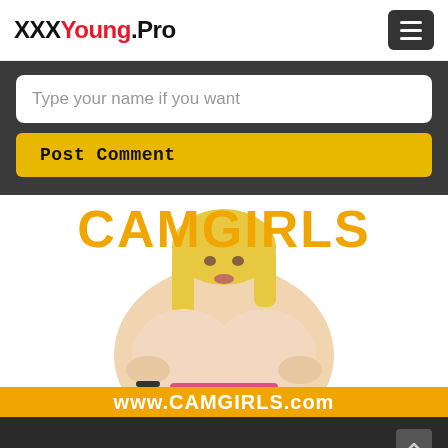XXXYoung.Pro
Type your name if you want
Post Comment
[Figure (photo): CAMGIRLS advertisement banner with large orange CAMGIRLS text, a blonde woman, and www.CAMGIRLS.com URL bar at bottom]
Popular XXX Young Searches